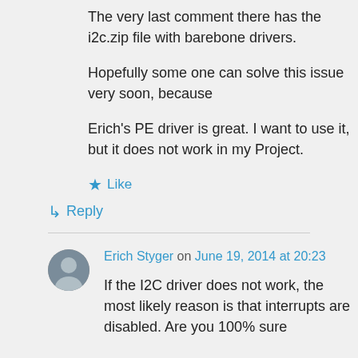The very last comment there has the i2c.zip file with barebone drivers.
Hopefully some one can solve this issue very soon, because
Erich's PE driver is great. I want to use it, but it does not work in my Project.
★ Like
↳ Reply
Erich Styger on June 19, 2014 at 20:23
If the I2C driver does not work, the most likely reason is that interrupts are disabled. Are you 100% sure